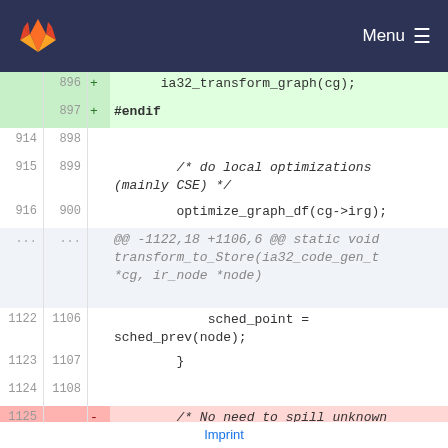[Figure (logo): GitLab fox logo in orange]
Menu ≡
896  +    ia32_transform_graph(cg);
897  + #endif
914  898
915  899      /* do local optimizations (mainly CSE) */
916  900      optimize_graph_df(cg->irg);
...  ...  @@ -1122,18 +1106,6 @@ static void transform_to_Store(ia32_code_gen_t *cg, ir_node *node)
1122 1106              sched_point = sched_prev(node);
1123 1107          }
1124 1108
1125       -     /* No need to spill unknown values... */
1126       -     if (is_ia32_Unknown_GP(val) ||
1127       -     is_ia32_Unknown_VFP(val) ||
Imprint